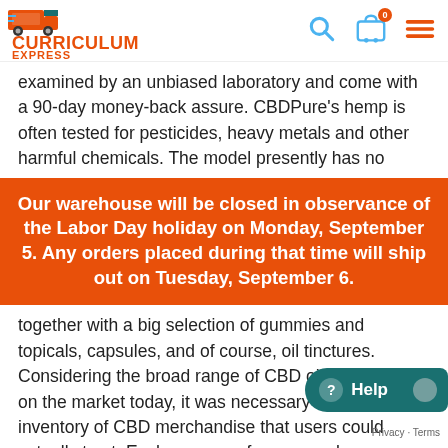Curriculum Express
examined by an unbiased laboratory and come with a 90-day money-back assure. CBDPure's hemp is often tested for pesticides, heavy metals and other harmful chemicals. The model presently has no
Our warehouse will be closed in observance of the Labor Day holiday on Monday, September 5. Any orders placed during that time will ship out on Tuesday, September 6.
together with a big selection of gummies and topicals, capsules, and of course, oil tinctures. Considering the broad range of CBD oils available on the market today, it was necessary to pick an inventory of CBD merchandise that users could actually trust. Each company focuses on key phrases, which can mean one thing different from firm to company. Some provide certified purity, whereas others include artificial elements for called natural flavors.